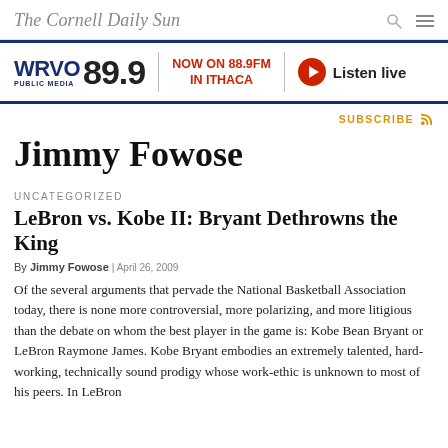The Cornell Daily Sun
[Figure (other): WRVO Public Media 89.9 FM advertisement banner with red play button and 'Listen live' text]
SUBSCRIBE
Jimmy Fowose
UNCATEGORIZED
LeBron vs. Kobe II: Bryant Dethrowns the King
By Jimmy Fowose | April 26, 2009
Of the several arguments that pervade the National Basketball Association today, there is none more controversial, more polarizing, and more litigious than the debate on whom the best player in the game is: Kobe Bean Bryant or LeBron Raymone James. Kobe Bryant embodies an extremely talented, hard-working, technically sound prodigy whose work-ethic is unknown to most of his peers. In LeBron